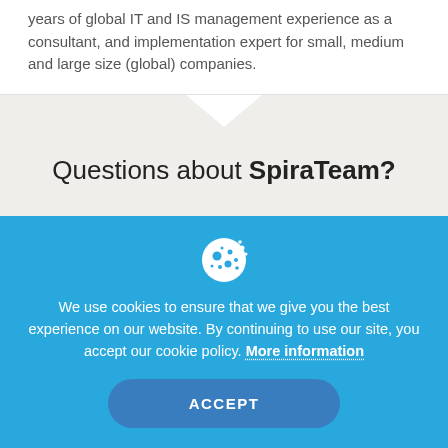years of global IT and IS management experience as a consultant, and implementation expert for small, medium and large size (global) companies.
Questions about SpiraTeam?
[Figure (illustration): Cookie icon in white on blue background]
We use cookies to ensure that we give you the best experience on our website. By continuing to use our site, you accept our cookie policy. More information
ACCEPT